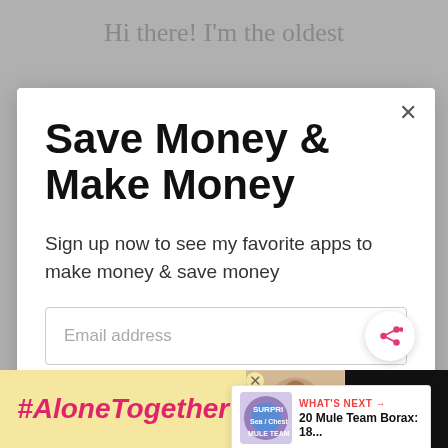Hi there! I'm the oldest
Save Money & Make Money
Sign up now to see my favorite apps to make money & save money
Email address
Get It Now
WHAT'S NEXT → 20 Mule Team Borax: 18...
#AloneTogether